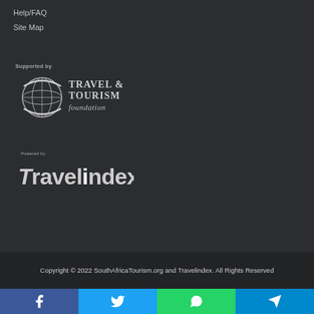Help/FAQ
Site Map
Supported by
[Figure (logo): Travel & Tourism Foundation logo with globe icon]
Powered by
[Figure (logo): Travelindex logo]
Copyright © 2022 SouthAfricaTourism.org and Travelindex. All Rights Reserved
[Figure (infographic): Social sharing buttons: Facebook, Twitter, WhatsApp, Telegram]